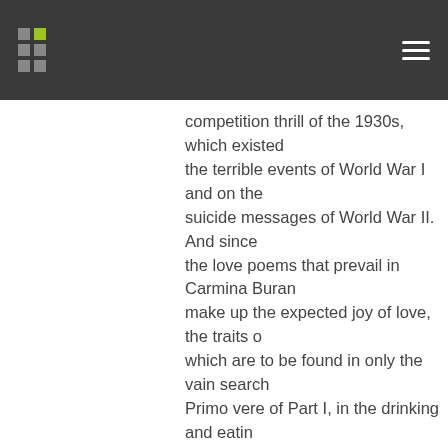competition thrill of the 1930s, which existed the terrible events of World War I and on the suicide messages of World War II. And since the love poems that prevail in Carmina Burana make up the expected joy of love, the traits of which are to be found in only the vain search Primo vere of Part I, in the drinking and eating exercises of Part II and the touches of the love calls of Part III. The second cantata Catulli Carmina of the triptych presents the image of sacrificial Atonement of self-centered, volitional love, whose moral forbearance destroys the anticipated joy of taking the gain. And how not recognize in this “morality of forced love” the beautiful-talented and self-centered-irrepressible Catullus – an image of the German youth, whose the roads of the War gave their life for the greatness of spreading the German spirit, testing the success of scientific and artistic achievements among the peoples who for various reasons